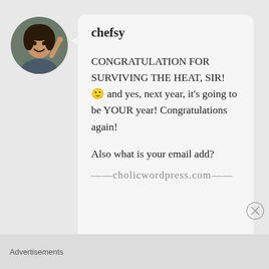[Figure (photo): Circular avatar photo of a woman smiling, dark hair, casual clothing]
chefsy
CONGRATULATION FOR SURVIVING THE HEAT, SIR! 🙂 and yes, next year, it's going to be YOUR year! Congratulations again!

Also what is your email add?
——-cholicwordpress.com——
Advertisements